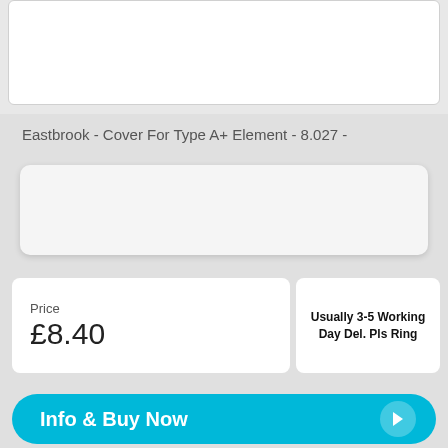[Figure (other): White card placeholder area at top of page]
Eastbrook - Cover For Type A+ Element - 8.027 -
[Figure (other): Grey inner card / product image placeholder area]
Price
£8.40
Usually 3-5 Working Day Del. Pls Ring
Info & Buy Now